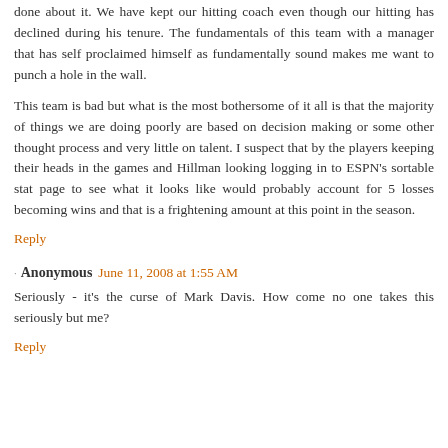done about it. We have kept our hitting coach even though our hitting has declined during his tenure. The fundamentals of this team with a manager that has self proclaimed himself as fundamentally sound makes me want to punch a hole in the wall.
This team is bad but what is the most bothersome of it all is that the majority of things we are doing poorly are based on decision making or some other thought process and very little on talent. I suspect that by the players keeping their heads in the games and Hillman looking logging in to ESPN's sortable stat page to see what it looks like would probably account for 5 losses becoming wins and that is a frightening amount at this point in the season.
Reply
Anonymous June 11, 2008 at 1:55 AM
Seriously - it's the curse of Mark Davis. How come no one takes this seriously but me?
Reply